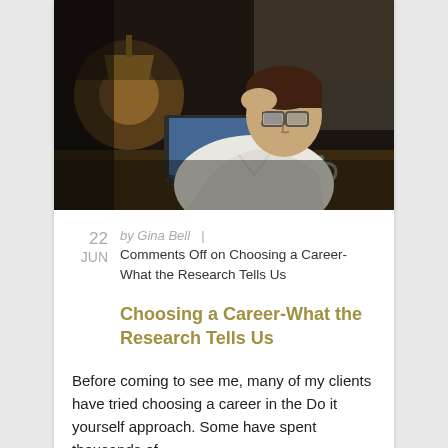[Figure (photo): Man with glasses sitting at a desk at night, leaning forward with one hand on his head, working on a laptop with a lamp and coffee mug nearby]
22 JUN  by Gina Bell  |  Comments Off on Choosing a Career-What the Research Tells Us
Choosing a Career-What the Research Tells Us
Before coming to see me, many of my clients have tried choosing a career in the Do it yourself approach. Some have spent thousands of